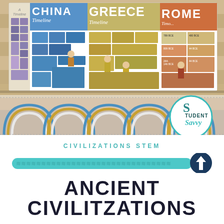[Figure (photo): Classroom wall display showing ancient civilizations timelines for China, Greece, and Rome with colorful illustrated cards, colorful rainbow border strip at bottom, and Student Savvy logo circle in corner]
CIVILIZATIONS STEM
[Figure (infographic): Teal horizontal bar with decorative pattern and dark navy circle with upward arrow on right side]
ANCIENT CIVILITZATIONS